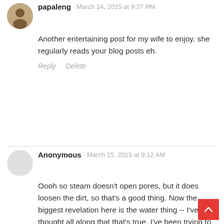papaleng · March 14, 2015 at 9:37 PM
Another entertaining post for my wife to enjoy. she regularly reads your blog posts eh.
Reply   Delete
Anonymous · March 15, 2015 at 9:12 AM
Oooh so steam doesn't open pores, but it does loosen the dirt, so that's a good thing. Now the biggest revelation here is the water thing -- I've thought all along that that's true. I've been trying to go for that lately, but not really for my skin...I'm trying to eat and drink healthier. I just thought it affects the skin, too, haha.

Speaking of squeaks, I was just telling my hubby that I feel uncomfortable with my new facial wash even though it's effective. I've been using another